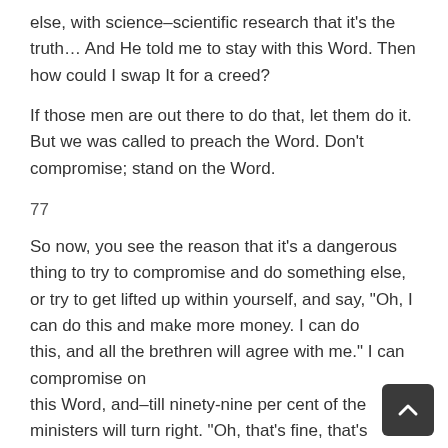else, with science–scientific research that it's the truth… And He told me to stay with this Word. Then how could I swap It for a creed?
If those men are out there to do that, let them do it. But we was called to preach the Word. Don't compromise; stand on the Word.
77
So now, you see the reason that it's a dangerous thing to try to compromise and do something else, or try to get lifted up within yourself, and say, "Oh, I can do this and make more money. I can do this, and all the brethren will agree with me." I can compromise on this Word, and–till ninety-nine per cent of the ministers will turn right. "Oh, that's fine, that's good." And I know now, many of them call… What is it? Loaves and fishes, seeing the people healed, and the discernments, and the powers of God, and so forth, manifested. They